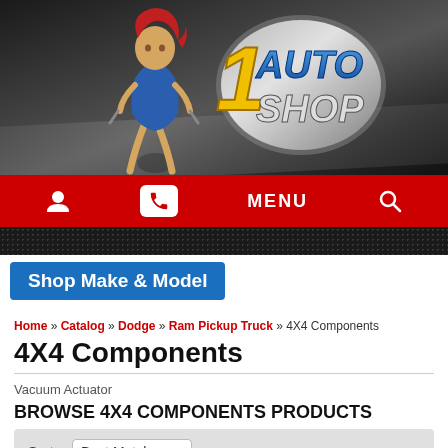[Figure (logo): 1 Auto Shop website header banner with logo showing '1 AUTO SHOP' text, a pin-up mechanic illustration, and dark metallic background]
MENU navigation bar with account icon, phone icon, MENU text, and search icon on red background
Shop Make & Model
Home » Catalog » Dodge » Ram Pickup Truck » 4X4 Components
4X4 Components
Vacuum Actuator
BROWSE 4X4 COMPONENTS PRODUCTS
Sort  Best Match
View  60